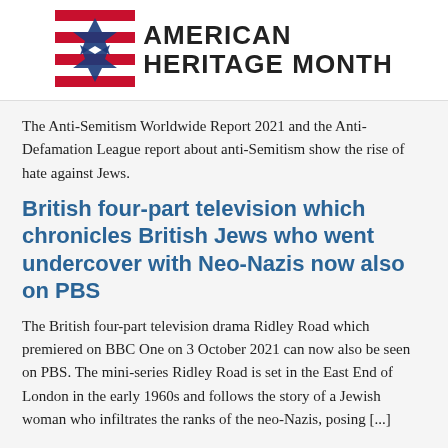[Figure (logo): American Heritage Month logo with star graphic and bold text reading AMERICAN HERITAGE MONTH]
The Anti-Semitism Worldwide Report 2021 and the Anti-Defamation League report about anti-Semitism show the rise of hate against Jews.
British four-part television which chronicles British Jews who went undercover with Neo-Nazis now also on PBS
The British four-part television drama Ridley Road which premiered on BBC One on 3 October 2021 can now also be seen on PBS. The mini-series Ridley Road is set in the East End of London in the early 1960s and follows the story of a Jewish woman who infiltrates the ranks of the neo-Nazis, posing [...]